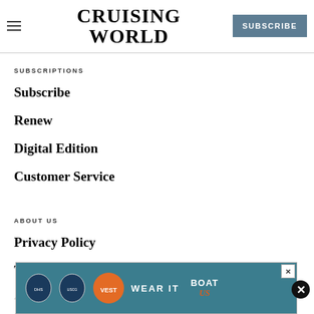CRUISING WORLD | SUBSCRIBE
SUBSCRIPTIONS
Subscribe
Renew
Digital Edition
Customer Service
ABOUT US
Privacy Policy
Terms of Use
Abuse
Contact Us
[Figure (advertisement): Wear It life jacket campaign advertisement with DHS, USCG logos and Boat US branding on teal background]